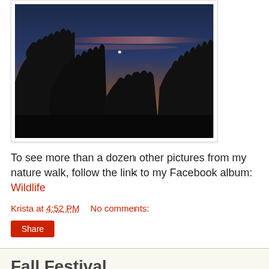[Figure (photo): Nighttime or dusk nature photograph showing silhouettes of trees against a dark blue and reddish-orange sky with a small bright star or planet visible in the upper center area.]
To see more than a dozen other pictures from my nature walk, follow the link to my Facebook album: Wildlife
Krista at 4:52 PM    No comments:
Share
Fall Festival
Last weekend we officially felt like parents of school-age